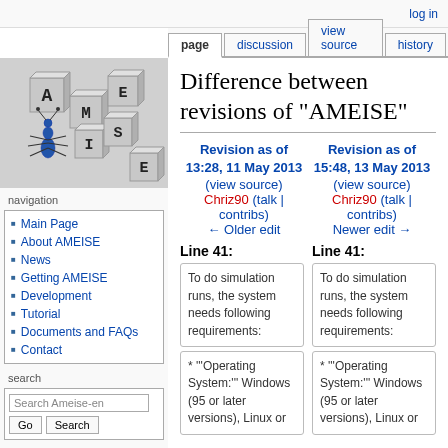log in
page | discussion | view source | history
[Figure (logo): AMEISE logo with an ant and letter blocks spelling A-M-E-I-S-E on gray cubes]
navigation
Main Page
About AMEISE
News
Getting AMEISE
Development
Tutorial
Documents and FAQs
Contact
search
tools
Difference between revisions of "AMEISE"
| Revision as of 13:28, 11 May 2013 | Revision as of 15:48, 13 May 2013 |
| --- | --- |
| (view source) | (view source) |
| Chriz90 (talk | contribs) | Chriz90 (talk | contribs) |
| ← Older edit | Newer edit → |
Line 41:
Line 41:
To do simulation runs, the system needs following requirements:
To do simulation runs, the system needs following requirements:
* '''Operating System:''' Windows (95 or later versions), Linux or
* '''Operating System:''' Windows (95 or later versions), Linux or